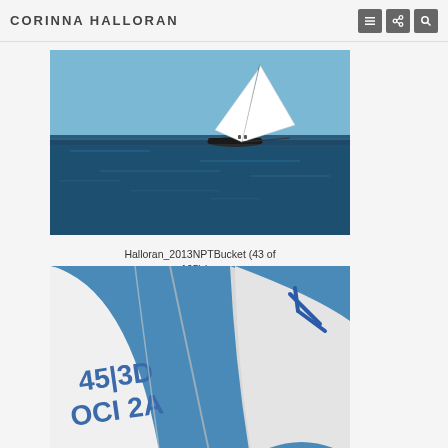CORINNA HALLORAN
[Figure (photo): A sailboat on open blue ocean water, sail angled diagonally, photographed from a distance with horizon visible]
Halloran_2013NPTBucket (43 of 165).jpg
[Figure (photo): Close-up of white sailboat sails against a blue sky, with blue markings/numbers visible on the sail fabric]